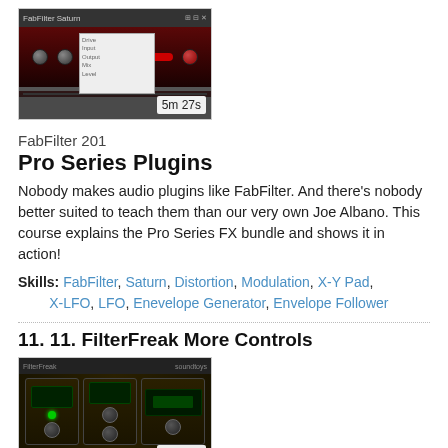[Figure (screenshot): FabFilter plugin UI screenshot with red knobs and dark interface, duration badge showing 5m 27s]
FabFilter 201
Pro Series Plugins
Nobody makes audio plugins like FabFilter. And there's nobody better suited to teach them than our very own Joe Albano. This course explains the Pro Series FX bundle and shows it in action!
Skills: FabFilter, Saturn, Distortion, Modulation, X-Y Pad, X-LFO, LFO, Enevelope Generator, Envelope Follower
11. 11. FilterFreak More Controls
[Figure (screenshot): Soundtoys FilterFreak plugin UI screenshot with dark wood-panel style interface, duration badge showing 5m 39s]
Soundtoys 101
Playing With Soundtoys
Soundtoys makes audio plugins...